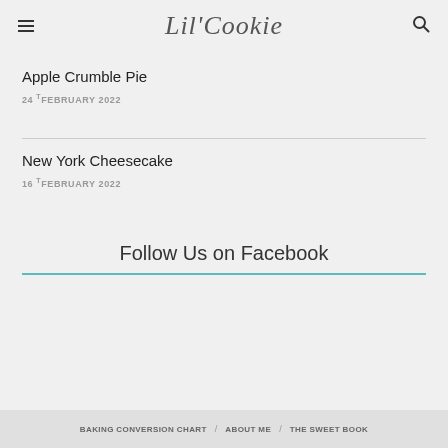Lil'Cookie
Apple Crumble Pie
24 тFEBRUARY 2022
New York Cheesecake
16 тFEBRUARY 2022
Follow Us on Facebook
BAKING CONVERSION CHART / ABOUT ME / THE SWEET BOOK